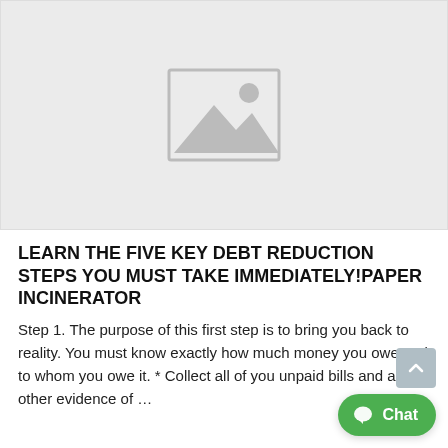[Figure (illustration): Placeholder image with a mountain/landscape icon in a light gray box]
LEARN THE FIVE KEY DEBT REDUCTION STEPS YOU MUST TAKE IMMEDIATELY!PAPER INCINERATOR
Step 1. The purpose of this first step is to bring you back to reality. You must know exactly how much money you owe and to whom you owe it. * Collect all of you unpaid bills and any other evidence of …